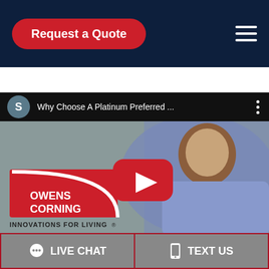Request a Quote
[Figure (screenshot): YouTube video thumbnail showing 'Why Choose A Platinum Preferred ...' with Owens Corning logo, a woman speaking, and a red play button]
LIVE CHAT   TEXT US